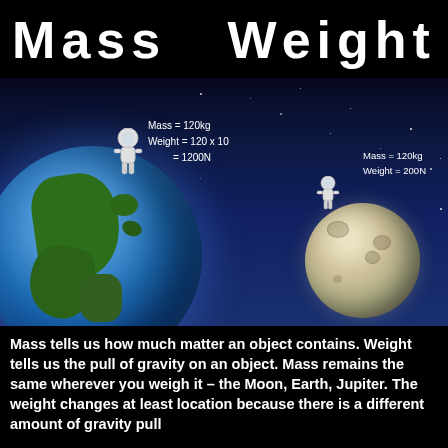Mass   Weight
[Figure (infographic): Infographic showing an astronaut standing on Earth with labels 'Mass = 120kg, Weight = 120 x 10 = 1200N' and a smaller astronaut standing on the Moon with labels 'Mass = 120kg, Weight = 200N', set against a dark space background.]
Mass tells us how much matter an object contains. Weight tells us the pull of gravity on an object. Mass remains the same wherever you weigh it – the Moon, Earth, Jupiter. The weight changes at least location because there is a different amount of gravity pull